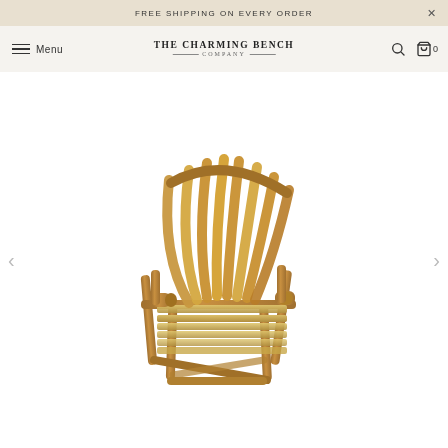FREE SHIPPING ON EVERY ORDER
The Charming Bench Company — Menu
[Figure (photo): A rustic wooden Adirondack-style loveseat/bench made from cedar logs and slats, with a fan-shaped slatted back, log armrests, and slatted seat, photographed on a white background.]